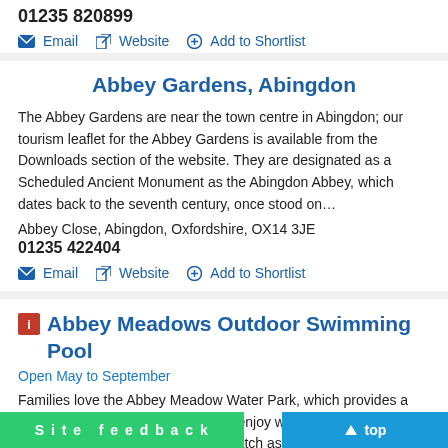01235 820899
Email | Website | Add to Shortlist
Abbey Gardens, Abingdon
The Abbey Gardens are near the town centre in Abingdon; our tourism leaflet for the Abbey Gardens is available from the Downloads section of the website. They are designated as a Scheduled Ancient Monument as the Abingdon Abbey, which dates back to the seventh century, once stood on…
Abbey Close, Abingdon, Oxfordshire, OX14 3JE
01235 422404
Email | Website | Add to Shortlist
Abbey Meadows Outdoor Swimming Pool
Open May to September
Families love the Abbey Meadow Water Park, which provides a safe environment for youngsters to enjoy water fun on a hot day. Parents can relax at the side and watch as the kids run around… well as the heated outdoor pool and…
Site feedback | top